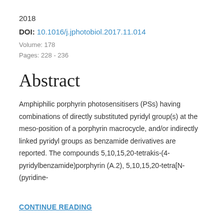2018
DOI: 10.1016/j.jphotobiol.2017.11.014
Volume: 178
Pages: 228 - 236
Abstract
Amphiphilic porphyrin photosensitisers (PSs) having combinations of directly substituted pyridyl group(s) at the meso-position of a porphyrin macrocycle, and/or indirectly linked pyridyl groups as benzamide derivatives are reported. The compounds 5,10,15,20-tetrakis-(4-pyridylbenzamide)porphyrin (A.2), 5,10,15,20-tetra[N-(pyridine-
CONTINUE READING